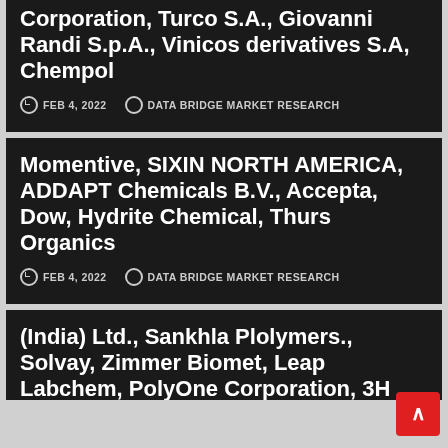Corporation, Turco S.A., Giovanni Randi S.p.A., Vinicos derivatives S.A, Chempol
FEB 4, 2022  DATA BRIDGE MARKET RESEARCH
Momentive, SIXIN NORTH AMERICA, ADDAPT Chemicals B.V., Accepta, Dow, Hydrite Chemical, Thurs Organics
FEB 4, 2022  DATA BRIDGE MARKET RESEARCH
(India) Ltd., Sankhla Plolymers., Solvay, Zimmer Biomet, Leap Labchem, PolyOne Corporation, 3H